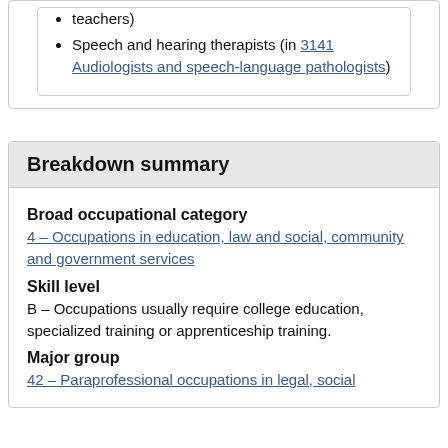teachers)
Speech and hearing therapists (in 3141 Audiologists and speech-language pathologists)
Breakdown summary
Broad occupational category
4 – Occupations in education, law and social, community and government services
Skill level
B – Occupations usually require college education, specialized training or apprenticeship training.
Major group
42 – Paraprofessional occupations in legal, social